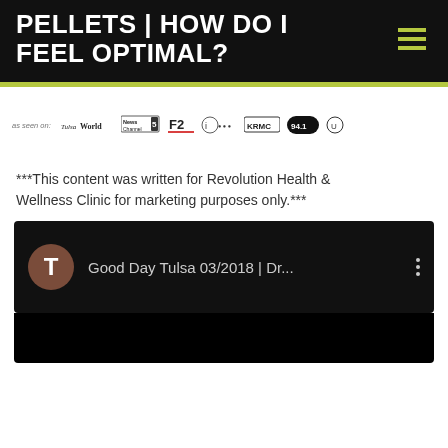PELLETS | HOW DO I FEEL OPTIMAL?
[Figure (logo): Media logos bar: as seen on: Tulsa World, News Channel, Fox, iHeart Radio, KRMC, 94.1, and one more outlet]
***This content was written for Revolution Health & Wellness Clinic for marketing purposes only.***
[Figure (screenshot): YouTube video thumbnail: brown circle with letter T avatar, title 'Good Day Tulsa 03/2018 | Dr...' with three-dot menu, dark background]